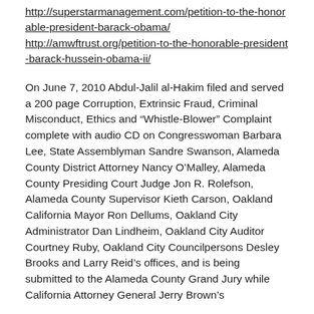http://superstarmanagement.com/petition-to-the-honorable-president-barack-obama/
http://amwftrust.org/petition-to-the-honorable-president-barack-hussein-obama-ii/
On June 7, 2010 Abdul-Jalil al-Hakim filed and served a 200 page Corruption, Extrinsic Fraud, Criminal Misconduct, Ethics and “Whistle-Blower” Complaint complete with audio CD on Congresswoman Barbara Lee, State Assemblyman Sandre Swanson, Alameda County District Attorney Nancy O’Malley, Alameda County Presiding Court Judge Jon R. Rolefson, Alameda County Supervisor Kieth Carson, Oakland California Mayor Ron Dellums, Oakland City Administrator Dan Lindheim, Oakland City Auditor Courtney Ruby, Oakland City Councilpersons Desley Brooks and Larry Reid’s offices, and is being submitted to the Alameda County Grand Jury while California Attorney General Jerry Brown’s